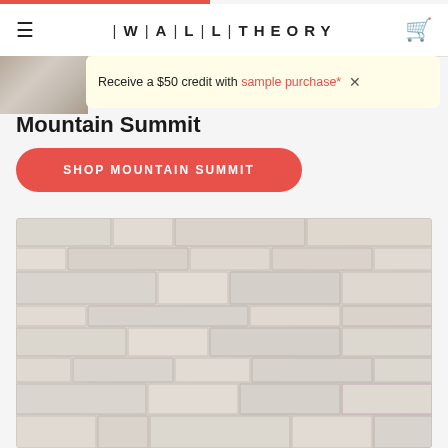WALL THEORY
Receive a $50 credit with sample purchase*  ×
Mountain Summit
SHOP MOUNTAIN SUMMIT
[Figure (photo): Close-up photo of stacked stone wall panels in white/light gray tones, showing the Mountain Summit product texture with layered rectangular stones of varying widths and heights]